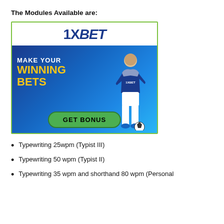The Modules Available are:
[Figure (illustration): 1XBET sports betting advertisement banner. Top white section shows '1XBET' logo in blue bold italic text. Lower dark blue section shows text 'MAKE YOUR WINNING BETS' with 'WINNING BETS' in yellow, a soccer/football player in blue 1XBET jersey and white shorts, and a green 'GET BONUS' button at the bottom.]
Typewriting 25wpm (Typist III)
Typewriting 50 wpm (Typist II)
Typewriting 35 wpm and shorthand 80 wpm (Personal